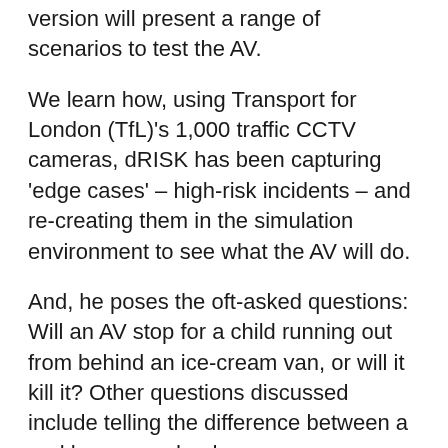version will present a range of scenarios to test the AV.
We learn how, using Transport for London (TfL)'s 1,000 traffic CCTV cameras, dRISK has been capturing 'edge cases' – high-risk incidents – and re-creating them in the simulation environment to see what the AV will do.
And, he poses the oft-asked questions: Will an AV stop for a child running out from behind an ice-cream van, or will it kill it? Other questions discussed include telling the difference between a real human and a dummy.
Chess explains why an AV will be able to recognise that a child dressed in a costume as a green traffic light, is recognised as a child crossing the road, not a green traffic light, even though it's a situation the AV has never come across before.
“AVs predict what’s going to happen, not what has